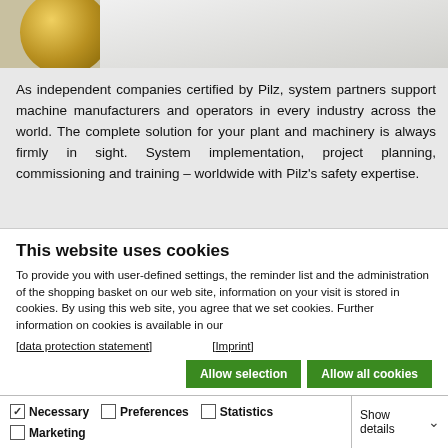[Figure (photo): Partial view of a gold-colored ring/component against a light grey background, cropped at top of page]
As independent companies certified by Pilz, system partners support machine manufacturers and operators in every industry across the world. The complete solution for your plant and machinery is always firmly in sight. System implementation, project planning, commissioning and training – worldwide with Pilz's safety expertise.
This website uses cookies
To provide you with user-defined settings, the reminder list and the administration of the shopping basket on our web site, information on your visit is stored in cookies. By using this web site, you agree that we set cookies. Further information on cookies is available in our
[data protection statement]    [Imprint]
Allow selection   Allow all cookies
Necessary   Preferences   Statistics   Marketing   Show details